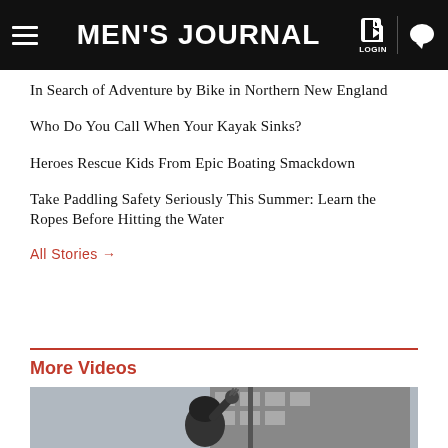MEN'S JOURNAL
In Search of Adventure by Bike in Northern New England
Who Do You Call When Your Kayak Sinks?
Heroes Rescue Kids From Epic Boating Smackdown
Take Paddling Safety Seriously This Summer: Learn the Ropes Before Hitting the Water
All Stories →
More Videos
[Figure (photo): A cyclist wearing a helmet raising their arm, photographed from below against a building background]